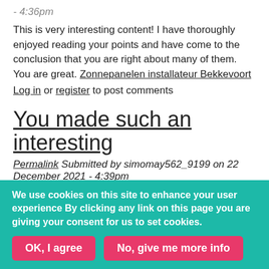- 4:36pm
This is very interesting content! I have thoroughly enjoyed reading your points and have come to the conclusion that you are right about many of them. You are great. Zonnepanelen installateur Bekkevoort
Log in or register to post comments
You made such an interesting
Permalink Submitted by simomay562_9199 on 22 December 2021 - 4:39pm
You made such an interesting piece to read, giving every subject enlightenment for us to gain knowledge. Thanks for sharing the such information with us to read this... PVC ramen en deuren
Log in or register to post comments
We use cookies on this site to enhance your user experience By clicking any link on this page you are giving your consent for us to set cookies.